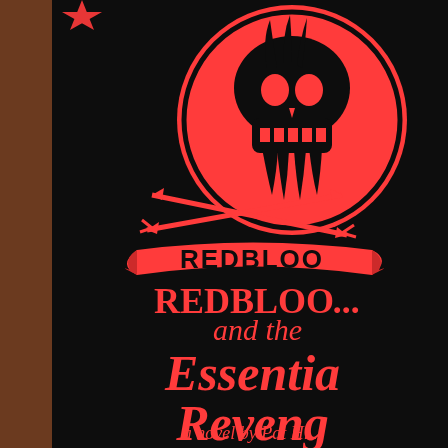[Figure (illustration): Book cover cropped view showing a skull emblem with crossed arrows, a banner reading 'REDBLOOD', stars, on a black background. Red coral/salmon color illustration on black.]
REDBLOO...
and the
Essential Reveng...
a novel by Pat Hi...